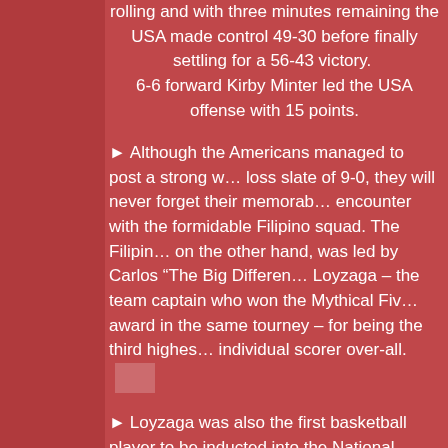rolling and with three minutes remaining the USA made control 49-30 before finally settling for a 56-43 victory. 6-6 forward Kirby Minter led the USA offense with 15 points.
Although the Americans managed to post a strong win-loss slate of 9-0, they will never forget their memorable encounter with the formidable Filipino squad. The Filipino, on the other hand, was led by Carlos "The Big Difference" Loyzaga – the team captain who won the Mythical Five award in the same tourney – for being the third highest individual scorer over-all.
Loyzaga was also the first basketball player to be inducted into the National Basketball Hall of Fame. Als